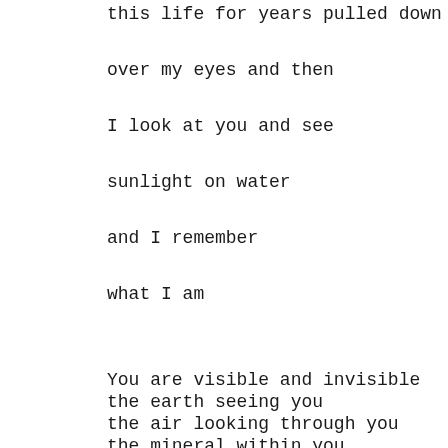this life for years pulled down
over my eyes and then
I look at you and see
sunlight on water
and I remember
what I am
You are visible and invisible
the earth seeing you
the air looking through you
the mineral within you
looking through you